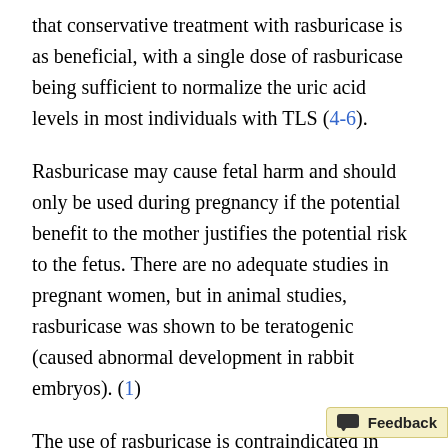that conservative treatment with rasburicase is as beneficial, with a single dose of rasburicase being sufficient to normalize the uric acid levels in most individuals with TLS (4-6).
Rasburicase may cause fetal harm and should only be used during pregnancy if the potential benefit to the mother justifies the potential risk to the fetus. There are no adequate studies in pregnant women, but in animal studies, rasburicase was shown to be teratogenic (caused abnormal development in rabbit embryos). (1)
The use of rasburicase is contraindicated in individuals known to have G6PD deficiency, and individuals at risk of G6PD deficiency should be screene...